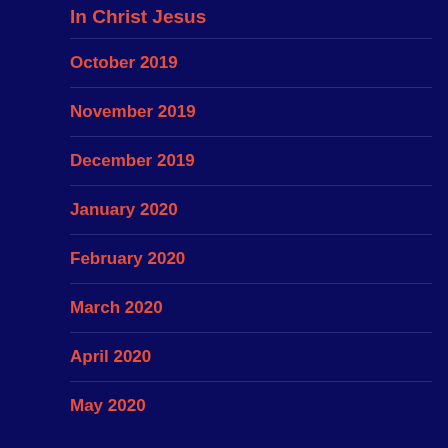In Christ Jesus
October 2019
November 2019
December 2019
January 2020
February 2020
March 2020
April 2020
May 2020